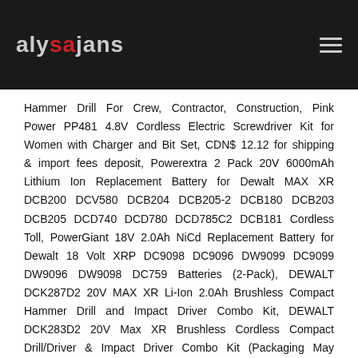alysajans [logo] [menu icon]
Hammer Drill For Crew, Contractor, Construction, Pink Power PP481 4.8V Cordless Electric Screwdriver Kit for Women with Charger and Bit Set, CDN$ 12.12 for shipping & import fees deposit, Powerextra 2 Pack 20V 6000mAh Lithium Ion Replacement Battery for Dewalt MAX XR DCB200 DCV580 DCB204 DCB205-2 DCB180 DCB203 DCB205 DCD740 DCD780 DCD785C2 DCB181 Cordless Toll, PowerGiant 18V 2.0Ah NiCd Replacement Battery for Dewalt 18 Volt XRP DC9098 DC9096 DW9099 DC9099 DW9096 DW9098 DC759 Batteries (2-Pack), DEWALT DCK287D2 20V MAX XR Li-Ion 2.0Ah Brushless Compact Hammer Drill and Impact Driver Combo Kit, DEWALT DCK283D2 20V Max XR Brushless Cordless Compact Drill/Driver & Impact Driver Combo Kit (Packaging May Vary), DEWALT DCD792D2 20V Max XR Tool Connect